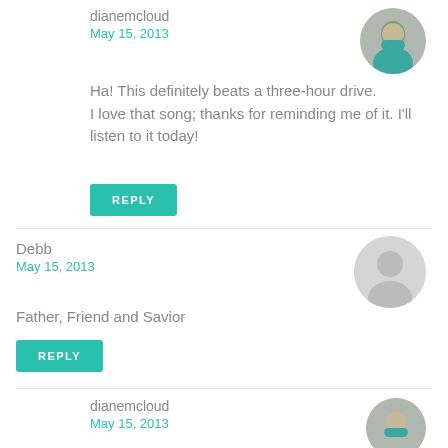dianemcloud
May 15, 2013
Ha! This definitely beats a three-hour drive. I love that song; thanks for reminding me of it. I'll listen to it today!
REPLY
Debb
May 15, 2013
Father, Friend and Savior
REPLY
dianemcloud
May 15, 2013